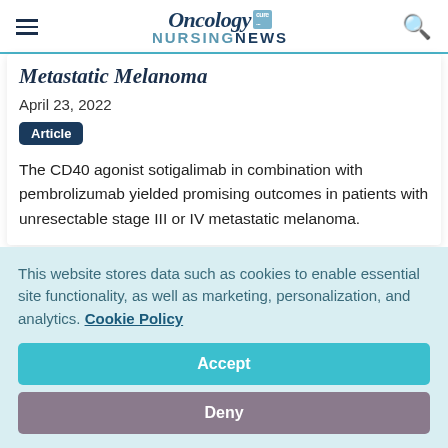Oncology Nursing News
Metastatic Melanoma
April 23, 2022
Article
The CD40 agonist sotigalimab in combination with pembrolizumab yielded promising outcomes in patients with unresectable stage III or IV metastatic melanoma.
This website stores data such as cookies to enable essential site functionality, as well as marketing, personalization, and analytics. Cookie Policy
Accept
Deny